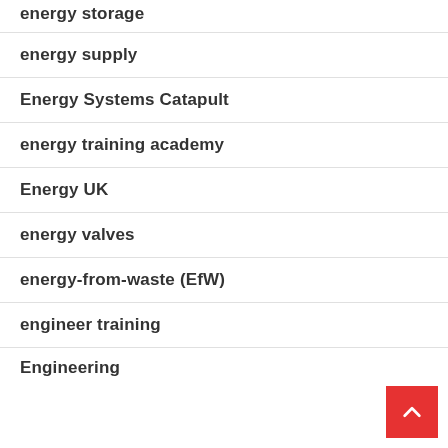energy storage
energy supply
Energy Systems Catapult
energy training academy
Energy UK
energy valves
energy-from-waste (EfW)
engineer training
Engineering